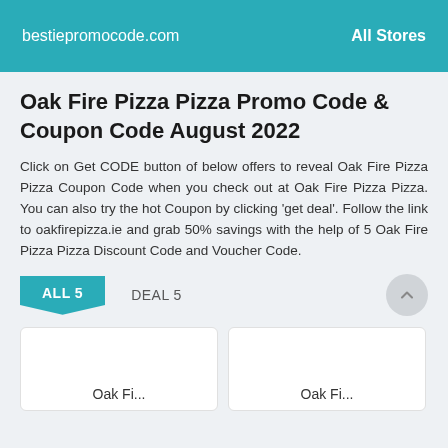bestiepromocode.com   All Stores
Oak Fire Pizza Pizza Promo Code & Coupon Code August 2022
Click on Get CODE button of below offers to reveal Oak Fire Pizza Pizza Coupon Code when you check out at Oak Fire Pizza Pizza. You can also try the hot Coupon by clicking 'get deal'. Follow the link to oakfirepizza.ie and grab 50% savings with the help of 5 Oak Fire Pizza Pizza Discount Code and Voucher Code.
ALL 5   DEAL 5
[Figure (screenshot): Two card thumbnails partially visible at the bottom, each labeled 'Oak Fi...']